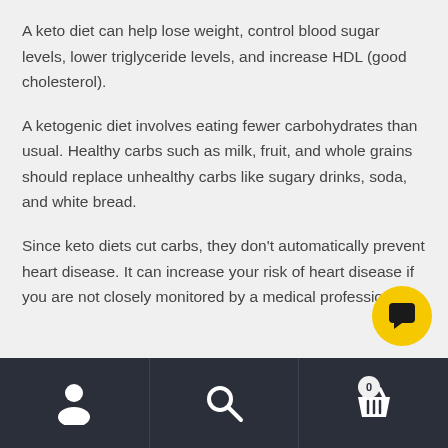A keto diet can help lose weight, control blood sugar levels, lower triglyceride levels, and increase HDL (good cholesterol).
A ketogenic diet involves eating fewer carbohydrates than usual. Healthy carbs such as milk, fruit, and whole grains should replace unhealthy carbs like sugary drinks, soda, and white bread.
Since keto diets cut carbs, they don't automatically prevent heart disease. It can increase your risk of heart disease if you are not closely monitored by a medical professional.
[Figure (other): Yellow circular chat bubble button icon in bottom-right area]
Navigation bar with person icon, search icon, and shopping basket icon with badge showing 0